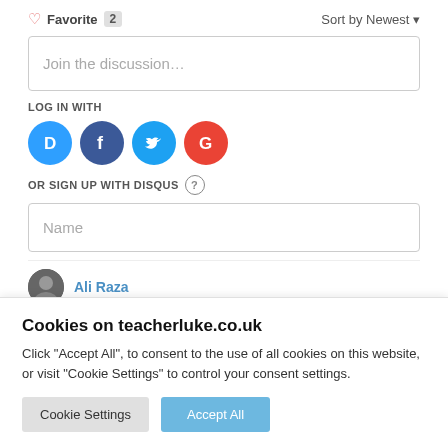♡ Favorite 2   Sort by Newest ▾
Join the discussion…
LOG IN WITH
[Figure (illustration): Social login icons: Disqus (blue circle with D), Facebook (dark blue circle with f), Twitter (light blue circle with bird), Google (red circle with G)]
OR SIGN UP WITH DISQUS ?
Name
Ali Raza
Cookies on teacherluke.co.uk
Click "Accept All", to consent to the use of all cookies on this website, or visit "Cookie Settings" to control your consent settings.
Cookie Settings   Accept All